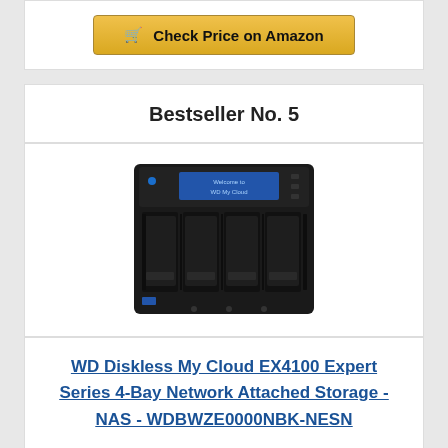Check Price on Amazon
Bestseller No. 5
[Figure (photo): WD My Cloud EX4100 4-Bay NAS device, black enclosure with 4 drive bays and blue LCD display on front]
WD Diskless My Cloud EX4100 Expert Series 4-Bay Network Attached Storage - NAS - WDBWZE0000NBK-NESN
Check Price on Amazon (partial, bottom)